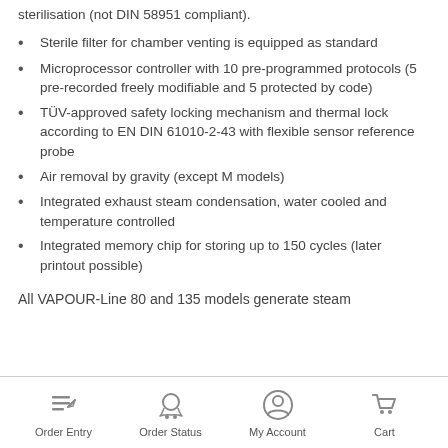sterilisation (not DIN 58951 compliant).
Sterile filter for chamber venting is equipped as standard
Microprocessor controller with 10 pre-programmed protocols (5 pre-recorded freely modifiable and 5 protected by code)
TÜV-approved safety locking mechanism and thermal lock according to EN DIN 61010-2-43 with flexible sensor reference probe
Air removal by gravity (except M models)
Integrated exhaust steam condensation, water cooled and temperature controlled
Integrated memory chip for storing up to 150 cycles (later printout possible)
All VAPOUR-Line 80 and 135 models generate steam
Order Entry | Order Status | My Account | Cart